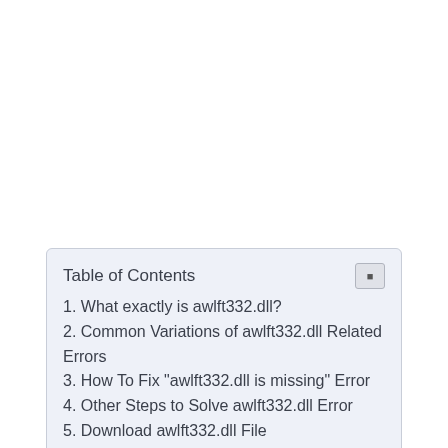Table of Contents
1. What exactly is awlft332.dll?
2. Common Variations of awlft332.dll Related Errors
3. How To Fix "awlft332.dll is missing" Error
4. Other Steps to Solve awlft332.dll Error
5. Download awlft332.dll File